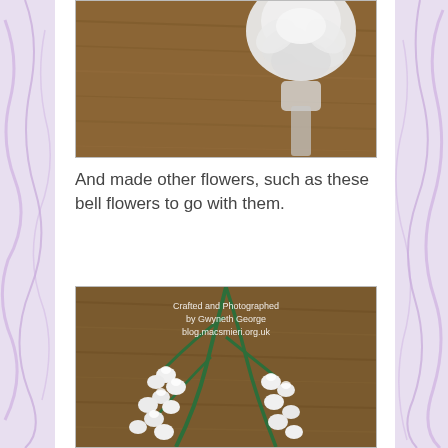[Figure (photo): Close-up photo of white handmade flower (rose-like) on wooden surface background, partially cropped at top]
And made other flowers, such as these bell flowers to go with them.
[Figure (photo): Photo of white handmade bell flowers on green wire stems, laid on wooden surface. Watermark text reads: Crafted and Photographed by Gwyneth George blog.macsmieri.org.uk]